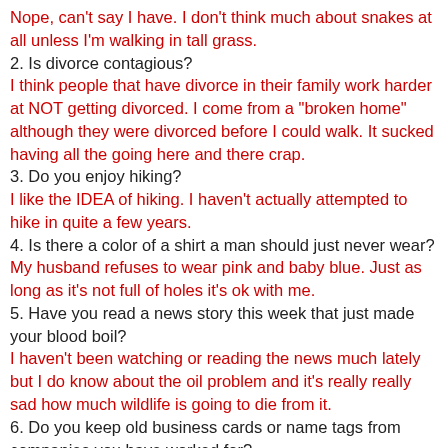Nope, can't say I have. I don't think much about snakes at all unless I'm walking in tall grass.
2. Is divorce contagious?
I think people that have divorce in their family work harder at NOT getting divorced. I come from a "broken home" although they were divorced before I could walk. It sucked having all the going here and there crap.
3. Do you enjoy hiking?
I like the IDEA of hiking. I haven't actually attempted to hike in quite a few years.
4. Is there a color of a shirt a man should just never wear?
My husband refuses to wear pink and baby blue. Just as long as it's not full of holes it's ok with me.
5. Have you read a news story this week that just made your blood boil?
I haven't been watching or reading the news much lately but I do know about the oil problem and it's really really sad how much wildlife is going to die from it.
6. Do you keep old business cards or name tags from companies you have worked for?
When I got laid off I shredded my business cards. Along with just about everything else in my desk. I don't have any